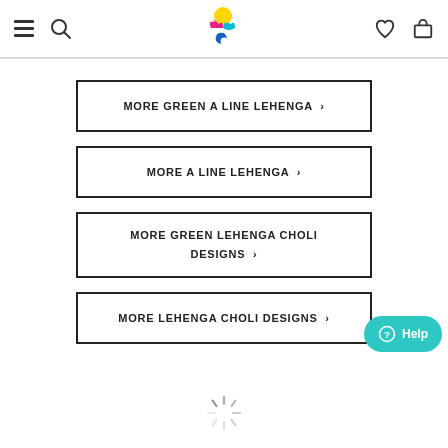Navigation header with menu, search, logo, heart, and cart icons
MORE GREEN A LINE LEHENGA >
MORE A LINE LEHENGA >
MORE GREEN LEHENGA CHOLI DESIGNS >
MORE LEHENGA CHOLI DESIGNS >
[Figure (other): Loading spinner animation]